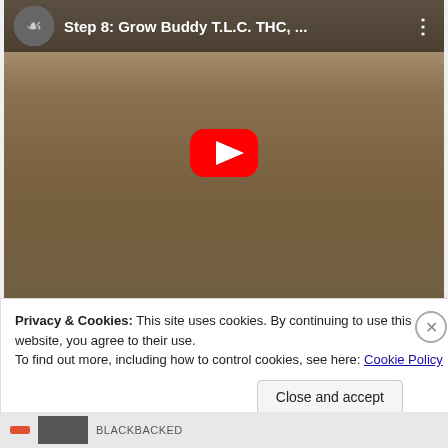[Figure (screenshot): YouTube video thumbnail showing a cardboard box with holes and a person holding a card with red dots, video title: 'Step 8: Grow Buddy T.L.C. THC, ...' with channel icon, play button overlay, and three-dot menu.]
Privacy & Cookies: This site uses cookies. By continuing to use this website, you agree to their use.
To find out more, including how to control cookies, see here: Cookie Policy
Close and accept